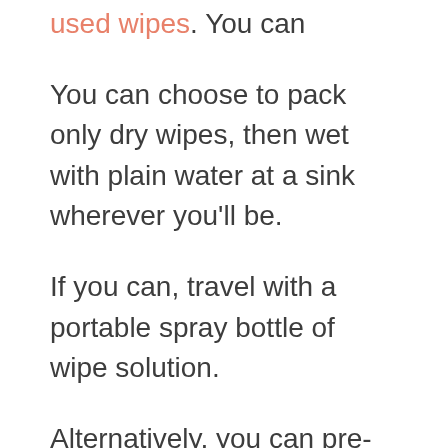used wipes. You can
You can choose to pack only dry wipes, then wet with plain water at a sink wherever you'll be.
If you can, travel with a portable spray bottle of wipe solution.
Alternatively, you can pre-moisten the cloth wipes and place them in a container that seals completely.